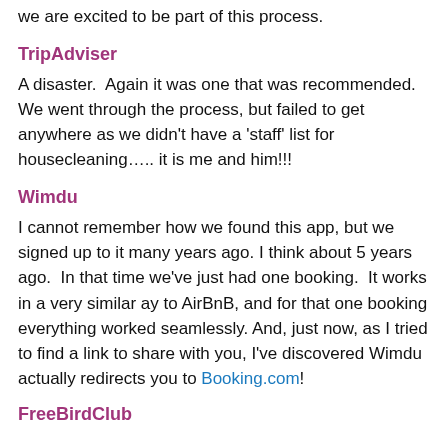we are excited to be part of this process.
TripAdviser
A disaster.  Again it was one that was recommended.  We went through the process, but failed to get anywhere as we didn't have a 'staff' list for housecleaning….. it is me and him!!!
Wimdu
I cannot remember how we found this app, but we signed up to it many years ago. I think about 5 years ago.  In that time we've just had one booking.  It works in a very similar ay to AirBnB, and for that one booking everything worked seamlessly. And, just now, as I tried to find a link to share with you, I've discovered Wimdu actually redirects you to Booking.com!
FreeBirdClub